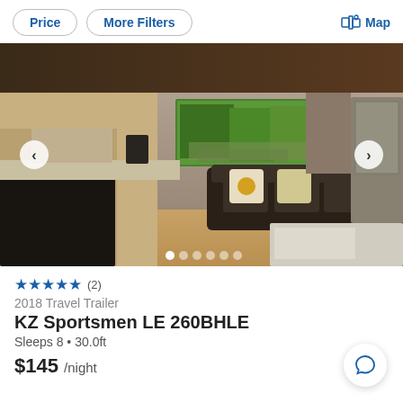Price | More Filters | Map
[Figure (photo): Interior photo of RV/travel trailer showing kitchen area with black appliances, leather sofa with decorative pillows, wood-look flooring, forest painting on wall, and entry door. Navigation arrows on left and right sides. Six dot indicators at bottom.]
★★★★★ (2)
2018 Travel Trailer
KZ Sportsmen LE 260BHLE
Sleeps 8 • 30.0ft
$145 /night